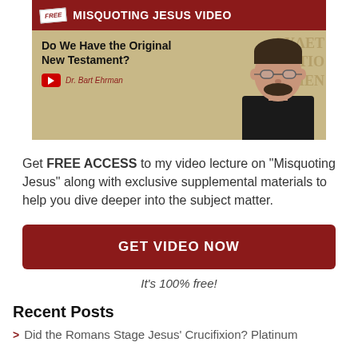[Figure (illustration): Promotional banner for free 'Misquoting Jesus Video' featuring Dr. Bart Ehrman, with dark red header bar, 'FREE' badge, YouTube icon, presenter name, Greek text background, and a photo of Dr. Ehrman.]
Get FREE ACCESS to my video lecture on "Misquoting Jesus" along with exclusive supplemental materials to help you dive deeper into the subject matter.
GET VIDEO NOW
It's 100% free!
Recent Posts
Did the Romans Stage Jesus' Crucifixion? Platinum